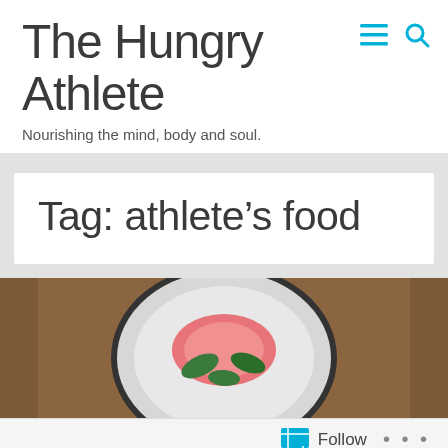The Hungry Athlete
Nourishing the mind, body and soul.
Tag: athlete's food
[Figure (photo): Food photo showing a plate with pink/salmon colored food and green leaves, on a grainy brown background]
Follow ...